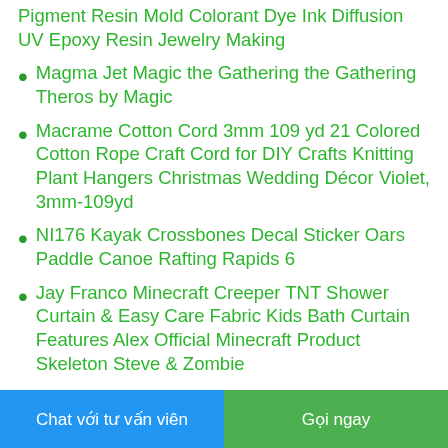Pigment Resin Mold Colorant Dye Ink Diffusion UV Epoxy Resin Jewelry Making
Magma Jet Magic the Gathering the Gathering Theros by Magic
Macrame Cotton Cord 3mm 109 yd 21 Colored Cotton Rope Craft Cord for DIY Crafts Knitting Plant Hangers Christmas Wedding Décor Violet, 3mm-109yd
NI176 Kayak Crossbones Decal Sticker Oars Paddle Canoe Rafting Rapids 6
Jay Franco Minecraft Creeper TNT Shower Curtain & Easy Care Fabric Kids Bath Curtain Features Alex Official Minecraft Product Skeleton Steve & Zombie
MERRIMAC Mens Fuzzy Woolen Memory Foam Indoor House Slippers with Fluffy Faux Fur Lining
Chat với tư vấn viên
Gọi ngay